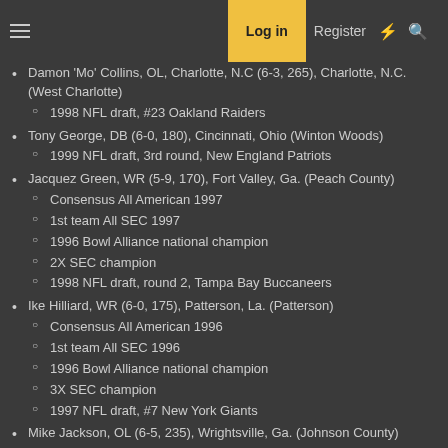Log in | Register
Damon 'Mo' Collins, OL, Charlotte, N.C (6-3, 265), Charlotte, N.C. (West Charlotte)
  - 1998 NFL draft, #23 Oakland Raiders
Tony George, DB (6-0, 180), Cincinnati, Ohio (Winton Woods)
  - 1999 NFL draft, 3rd round, New England Patriots
Jacquez Green, WR (5-9, 170), Fort Valley, Ga. (Peach County)
  - Consensus All American 1997
  - 1st team All SEC 1997
  - 1996 Bowl Alliance national champion
  - 2X SEC champion
  - 1998 NFL draft, round 2, Tampa Bay Buccaneers
Ike Hilliard, WR (6-0, 175), Patterson, La. (Patterson)
  - Consensus All American 1996
  - 1st team All SEC 1996
  - 1996 Bowl Alliance national champion
  - 3X SEC champion
  - 1997 NFL draft, #7 New York Giants
Mike Jackson, OL (6-5, 235), Wrightsville, Ga. (Johnson County)
  - Medical retirement in 1995.
Terry Jackson, WR (6-0, 200), Gainesville (P.K. Yonge)
  - 1999 NFL draft, round 5, San Francisco 49ers
  - Currently works in University of Florida athletics department
Nafis Karim, WR (5-11, 165), Marietta, Ga. (Pope)
Travis McGriff, WR (5-11, 175), Gainesville (P.K. Yonge)
  - 1st team All SEC 1998